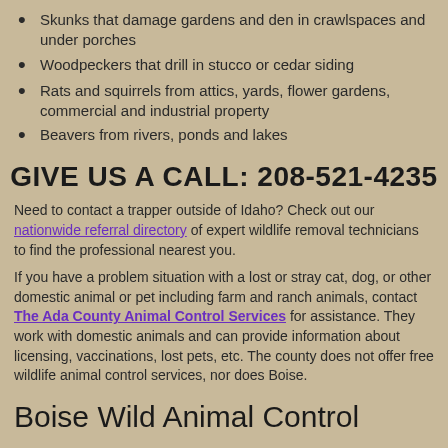Skunks that damage gardens and den in crawlspaces and under porches
Woodpeckers that drill in stucco or cedar siding
Rats and squirrels from attics, yards, flower gardens, commercial and industrial property
Beavers from rivers, ponds and lakes
GIVE US A CALL: 208-521-4235
Need to contact a trapper outside of Idaho? Check out our nationwide referral directory of expert wildlife removal technicians to find the professional nearest you.
If you have a problem situation with a lost or stray cat, dog, or other domestic animal or pet including farm and ranch animals, contact The Ada County Animal Control Services for assistance. They work with domestic animals and can provide information about licensing, vaccinations, lost pets, etc. The county does not offer free wildlife animal control services, nor does Boise.
Boise Wild Animal Control